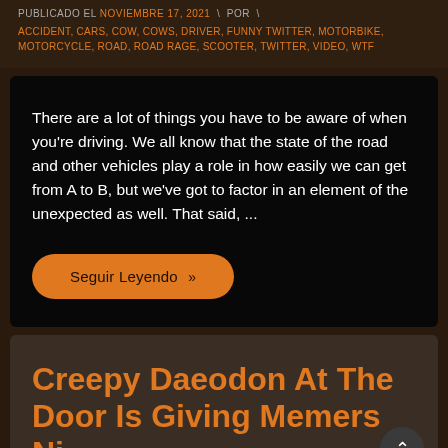PUBLICADO EL NOVIEMBRE 17, 2021 \ POR \
ACCIDENT, CARS, COW, COWS, DRIVER, FUNNY TWITTER, MOTORBIKE, MOTORCYCLE, ROAD, ROAD RAGE, SCOOTER, TWITTER, VIDEO, WTF
There are a lot of things you have to be aware of when you're driving. We all know that the state of the road and other vehicles play a role in how easily we can get from A to B, but we've got to factor in an element of the unexpected as well. That said, ...
Seguir Leyendo »
Creepy Daeodon At The Door Is Giving Memers Ni...